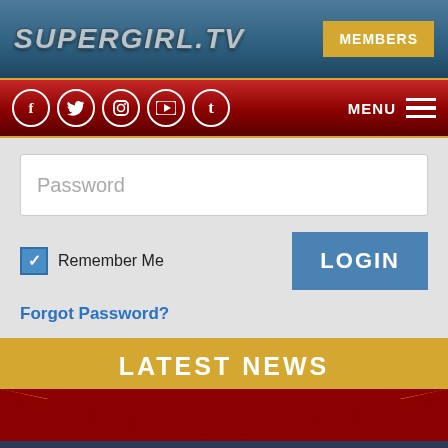SUPERGIRL.TV
MEMBERS
[Figure (screenshot): Navigation bar with social media icons (Facebook, Twitter, Instagram, YouTube, Tumblr) and hamburger menu]
Password
Remember Me
LOGIN
Forgot Password?
LATEST NEWS
Supergirl Series Finale Recap
11/9/2021 7:00 pm